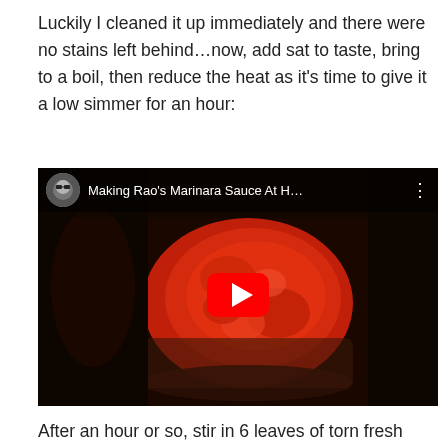Luckily I cleaned it up immediately and there were no stains left behind…now, add sat to taste, bring to a boil, then reduce the heat as it's time to give it a low simmer for an hour:
[Figure (screenshot): YouTube video thumbnail showing a pot of tomato marinara sauce with a red play button overlay. Video title reads 'Making Rao's Marinara Sauce At H...' with a user avatar thumbnail in the top-left corner.]
After an hour or so, stir in 6 leaves of torn fresh basil, a pinch of Oregano, then set the sauce aside… it's done!